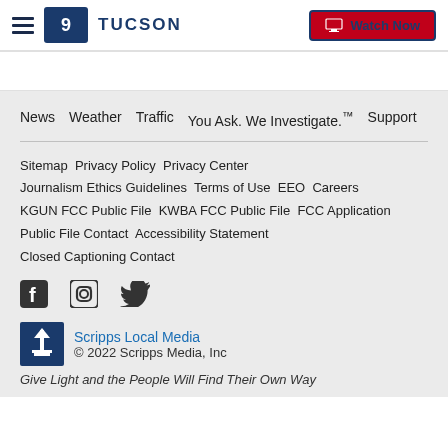9 TUCSON | Watch Now
News  Weather  Traffic  You Ask. We Investigate.™  Support
Sitemap  Privacy Policy  Privacy Center
Journalism Ethics Guidelines  Terms of Use  EEO  Careers
KGUN FCC Public File  KWBA FCC Public File  FCC Application
Public File Contact  Accessibility Statement
Closed Captioning Contact
[Figure (logo): Social media icons: Facebook, Instagram, Twitter]
[Figure (logo): Scripps Local Media logo]
Scripps Local Media
© 2022 Scripps Media, Inc
Give Light and the People Will Find Their Own Way